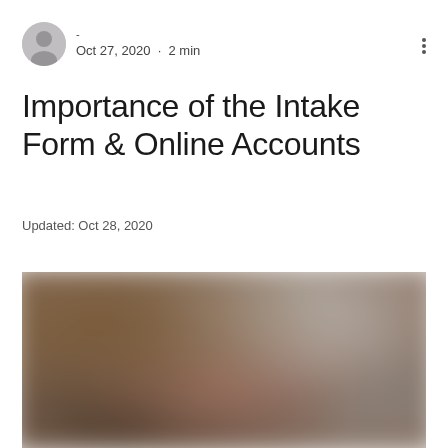[Figure (photo): User avatar circle icon with grey silhouette]
-
Oct 27, 2020 · 2 min
Importance of the Intake Form & Online Accounts
Updated: Oct 28, 2020
[Figure (photo): Blurred background photo showing a warm-toned interior scene, partially obscured]